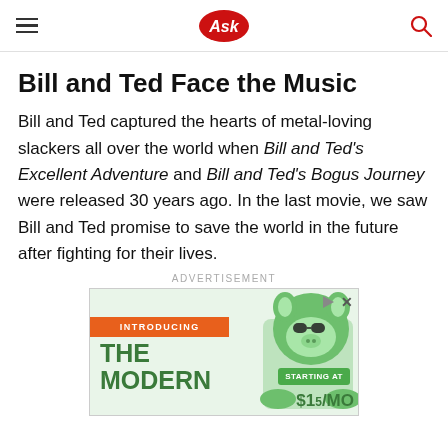Ask
Bill and Ted Face the Music
Bill and Ted captured the hearts of metal-loving slackers all over the world when Bill and Ted's Excellent Adventure and Bill and Ted's Bogus Journey were released 30 years ago. In the last movie, we saw Bill and Ted promise to save the world in the future after fighting for their lives.
[Figure (infographic): Advertisement banner. Orange bar reading INTRODUCING, green cartoon pig mascot with glasses, large teal text reading THE MODERN, right panel with STARTING AT $15/MO.]